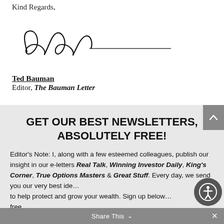Kind Regards,
[Figure (illustration): Handwritten signature of Ted Bauman with a long horizontal line extending to the right]
Ted Bauman
Editor, The Bauman Letter
GET OUR BEST NEWSLETTERS, ABSOLUTELY FREE!
Editor's Note: I, along with a few esteemed colleagues, publish our insight in our e-letters Real Talk, Winning Investor Daily, King's Corner, True Options Masters & Great Stuff. Every day, we send you our very best ideas to help protect and grow your wealth. Sign up below for free.